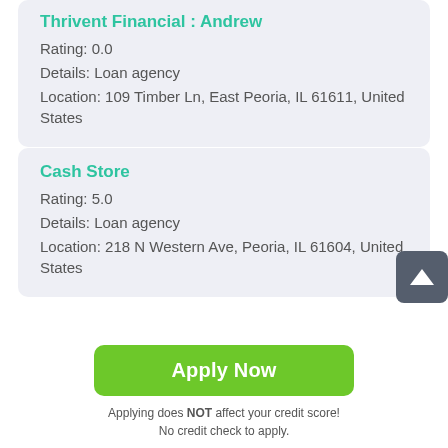Thrivent Financial : Andrew
Rating: 0.0
Details: Loan agency
Location: 109 Timber Ln, East Peoria, IL 61611, United States
Cash Store
Rating: 5.0
Details: Loan agency
Location: 218 N Western Ave, Peoria, IL 61604, United States
AmeriCash Loans
Apply Now
Applying does NOT affect your credit score!
No credit check to apply.